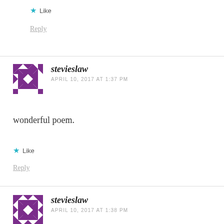Like
Reply
stevieslaw
APRIL 10, 2017 AT 1:37 PM
wonderful poem.
Like
Reply
stevieslaw
APRIL 10, 2017 AT 1:38 PM